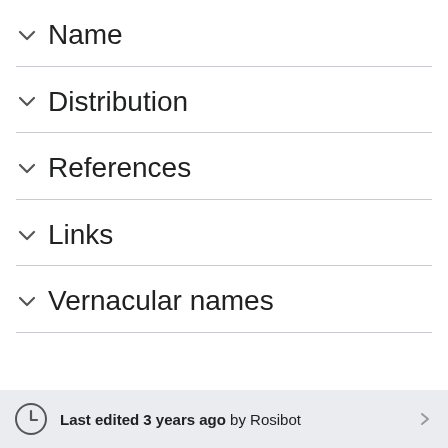Name
Distribution
References
Links
Vernacular names
Last edited 3 years ago by Rosibot